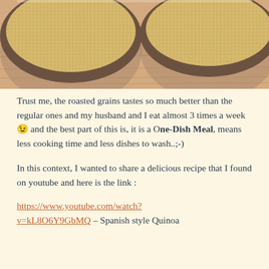[Figure (photo): Two bowls filled with small golden roasted grains (quinoa) viewed from above, placed on a light wooden surface]
Trust me, the roasted grains tastes so much better than the regular ones and my husband and I eat almost 3 times a week 😉 and the best part of this is, it is a One-Dish Meal, means less cooking time and less dishes to wash..;-)
In this context, I wanted to share a delicious recipe that I found on youtube and here is the link :
https://www.youtube.com/watch?v=kL8O6Y9GbMQ – Spanish style Quinoa